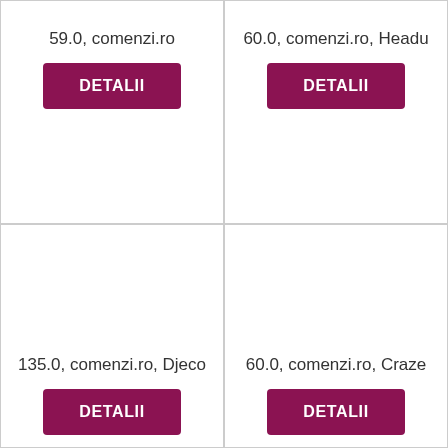59.0, comenzi.ro
DETALII
60.0, comenzi.ro, Headu
DETALII
135.0, comenzi.ro, Djeco
DETALII
60.0, comenzi.ro, Craze
DETALII